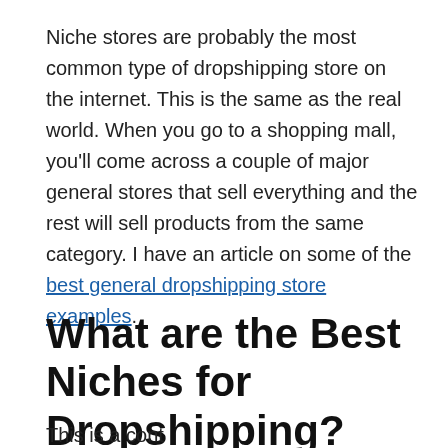Niche stores are probably the most common type of dropshipping store on the internet. This is the same as the real world. When you go to a shopping mall, you'll come across a couple of major general stores that sell everything and the rest will sell products from the same category. I have an article on some of the best general dropshipping store examples.
What are the Best Niches for Dropshipping?
This is a partial line cut off at the bottom of the page...